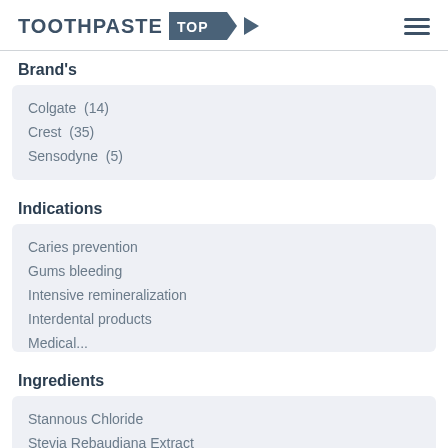TOOTHPASTE TOP
Brand's
Colgate  (14)
Crest  (35)
Sensodyne  (5)
Indications
Caries prevention
Gums bleeding
Intensive remineralization
Interdental products
Medical...
Ingredients
Stannous Chloride
Stevia Rebaudiana Extract
Stevioside